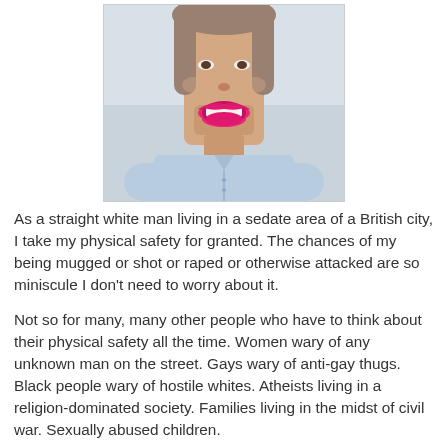[Figure (photo): Close-up photo of a woman with bright pink/magenta lipstick and an open mouth expression, wearing a light blue denim sleeveless top, photographed from chest up against a light grey background.]
As a straight white man living in a sedate area of a British city, I take my physical safety for granted. The chances of my being mugged or shot or raped or otherwise attacked are so miniscule I don't need to worry about it.
Not so for many, many other people who have to think about their physical safety all the time. Women wary of any unknown man on the street. Gays wary of anti-gay thugs. Black people wary of hostile whites. Atheists living in a religion-dominated society. Families living in the midst of civil war. Sexually abused children.
No society can call itself civilised when so many of its citizens feel physically unsafe and at risk from those around them. We should all feel safe and protected and...